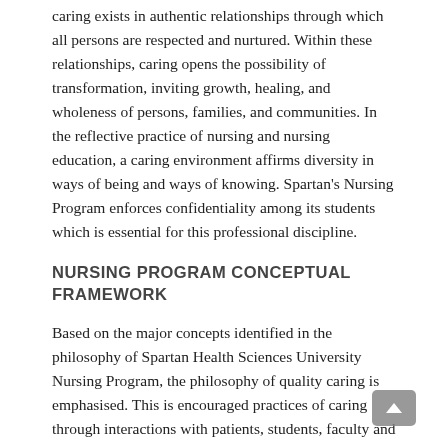caring exists in authentic relationships through which all persons are respected and nurtured. Within these relationships, caring opens the possibility of transformation, inviting growth, healing, and wholeness of persons, families, and communities. In the reflective practice of nursing and nursing education, a caring environment affirms diversity in ways of being and ways of knowing. Spartan's Nursing Program enforces confidentiality among its students which is essential for this professional discipline.
NURSING PROGRAM CONCEPTUAL FRAMEWORK
Based on the major concepts identified in the philosophy of Spartan Health Sciences University Nursing Program, the philosophy of quality caring is emphasised. This is encouraged practices of caring through interactions with patients, students, faculty and the health care team. The nursing curriculum is conceptualized from an organized body of knowledge specific to the art and science of nursing.